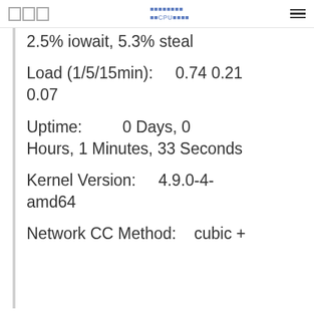CPU使用率
2.5% iowait, 5.3% steal
Load (1/5/15min):    0.74 0.21 0.07
Uptime:         0 Days, 0 Hours, 1 Minutes, 33 Seconds
Kernel Version:    4.9.0-4-amd64
Network CC Method:    cubic +